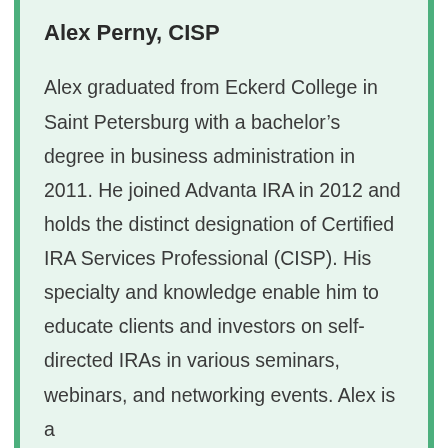Alex Perny, CISP
Alex graduated from Eckerd College in Saint Petersburg with a bachelor’s degree in business administration in 2011. He joined Advanta IRA in 2012 and holds the distinct designation of Certified IRA Services Professional (CISP). His specialty and knowledge enable him to educate clients and investors on self-directed IRAs in various seminars, webinars, and networking events. Alex is a